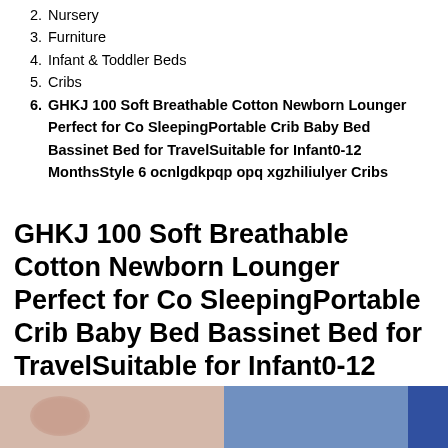2. Nursery
3. Furniture
4. Infant & Toddler Beds
5. Cribs
6. GHKJ 100 Soft Breathable Cotton Newborn Lounger Perfect for Co SleepingPortable Crib Baby Bed Bassinet Bed for TravelSuitable for Infant0-12 MonthsStyle 6 ocnlgdkpqp opq xgzhiliulyer Cribs
GHKJ 100 Soft Breathable Cotton Newborn Lounger Perfect for Co SleepingPortable Crib Baby Bed Bassinet Bed for TravelSuitable for Infant0-12 MonthsStyle 6 ocnlgdkpqp opq xgzhiliulyer Cribs
[Figure (photo): Product photo showing a baby lounger/crib with soft fabric and blue background]